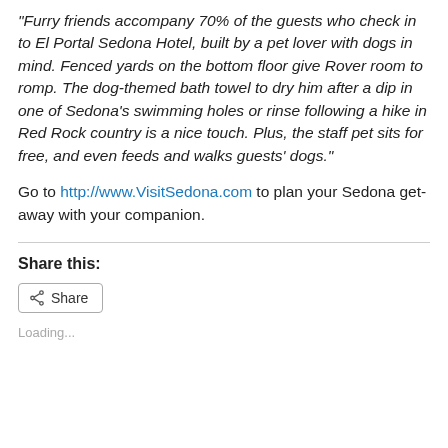“Furry friends accompany 70% of the guests who check in to El Portal Sedona Hotel, built by a pet lover with dogs in mind. Fenced yards on the bottom floor give Rover room to romp. The dog-themed bath towel to dry him after a dip in one of Sedona’s swimming holes or rinse following a hike in Red Rock country is a nice touch. Plus, the staff pet sits for free, and even feeds and walks guests’ dogs.”
Go to http://www.VisitSedona.com to plan your Sedona get-away with your companion.
Share this:
Share
Loading...